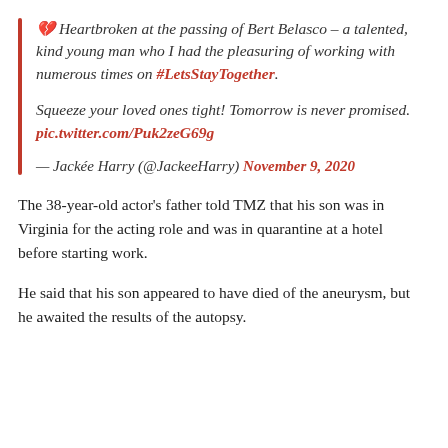💔 Heartbroken at the passing of Bert Belasco – a talented, kind young man who I had the pleasuring of working with numerous times on #LetsStayTogether. Squeeze your loved ones tight! Tomorrow is never promised. pic.twitter.com/Puk2zeG69g — Jackée Harry (@JackeeHarry) November 9, 2020
The 38-year-old actor's father told TMZ that his son was in Virginia for the acting role and was in quarantine at a hotel before starting work.
He said that his son appeared to have died of the aneurysm, but he awaited the results of the autopsy.